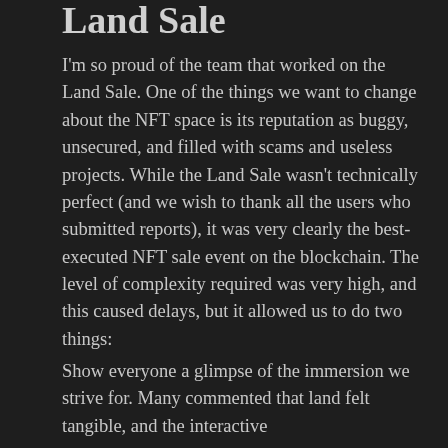Land Sale
I'm so proud of the team that worked on the Land Sale. One of the things we want to change about the NFT space is its reputation as buggy, unsecured, and filled with scams and useless projects. While the Land Sale wasn't technically perfect (and we wish to thank all the users who submitted reports), it was very clearly the best-executed NFT sale event on the blockchain. The level of complexity required was very high, and this caused delays, but it allowed us to do two things:
Show everyone a glimpse of the immersion we strive for. Many commented that land felt tangible, and the interactive